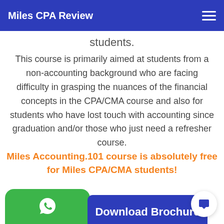Miles CPA Review
students.
This course is primarily aimed at students from a non-accounting background who are facing difficulty in grasping the nuances of the financial concepts in the CPA/CMA course and also for students who have lost touch with accounting since graduation and/or those who just need a refresher course.
Miles Accounting.101 course is absolutely free for Miles CPA/CMA students!
[Figure (other): Green WhatsApp button with phone icon and text 'Inquire @Miles Whatsapp']
Download Brochure
[Figure (other): Chat bubble icon in white circle]